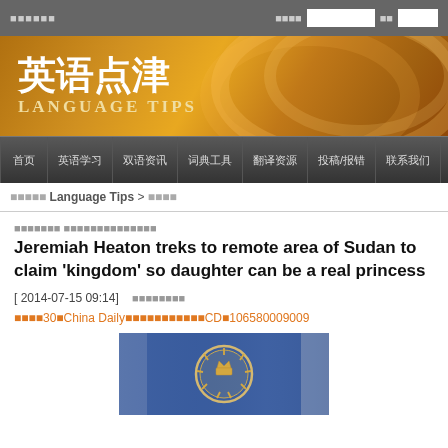英语点津 LANGUAGE TIPS
首页 英语学习 双语资讯 词典工具 翻译资源 投稿/报错 联系我们
英语点津 Language Tips > 双语资讯
美国父爱深沉为女儿圆公主梦
Jeremiah Heaton treks to remote area of Sudan to claim 'kingdom' so daughter can be a real princess
[ 2014-07-15 09:14]     腾讯微博分享
每天30分钟China Daily精华内容，订阅中国日报CD号106580009009
[Figure (photo): Photo of people holding a blue flag with a sun/crown emblem]